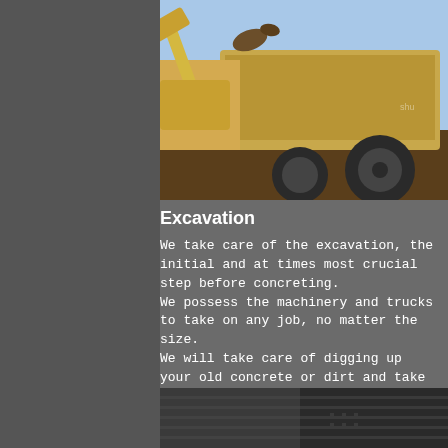[Figure (photo): Yellow excavator loading dirt into a dump truck on a construction site with blue sky in the background.]
Excavation
We take care of the excavation, the initial and at times most crucial step before concreting.
We possess the machinery and trucks to take on any job, no matter the size.
We will take care of digging up your old concrete or dirt and take it away allowing the perfect and compacted level for your new concrete.
[Figure (photo): Partial view of a dark metal surface or ramp at the bottom of the page.]